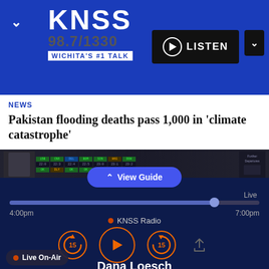[Figure (screenshot): KNSS 98.7/1330 Wichita's #1 Talk radio station app screenshot showing news headline, audio player controls, and Live On-Air indicator]
KNSS 98.7/1330 WICHITA'S #1 TALK
LISTEN
NEWS
Pakistan flooding deaths pass 1,000 in 'climate catastrophe'
View Guide
Live
4:00pm
7:00pm
KNSS Radio
Dana Loesch
4:00pm To 7:00pm UTC
Live On-Air